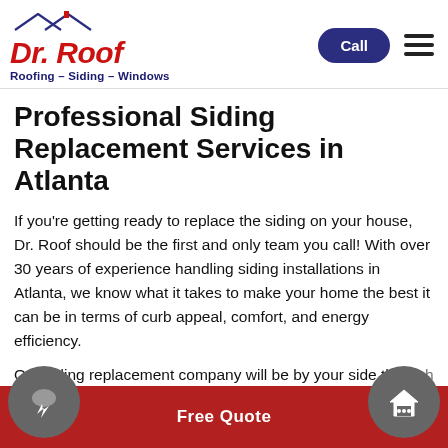[Figure (logo): Dr. Roof logo with roof icon, red italic Dr. Roof text, and blue tagline Roofing – Siding – Windows]
Professional Siding Replacement Services in Atlanta
If you're getting ready to replace the siding on your house, Dr. Roof should be the first and only team you call! With over 30 years of experience handling siding installations in Atlanta, we know what it takes to make your home the best it can be in terms of curb appeal, comfort, and energy efficiency.
Our siding replacement company will be by your side through every step of your project to ensure you
Free Quote